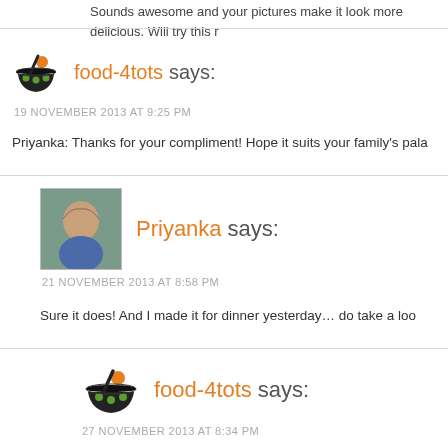Sounds awesome and your pictures make it look more delicious. Will try this r
food-4tots says:
19 NOVEMBER 2013 AT 9:25 PM
Priyanka: Thanks for your compliment! Hope it suits your family's pala
Priyanka says:
21 NOVEMBER 2013 AT 8:58 PM
Sure it does! And I made it for dinner yesterday… do take a loo
food-4tots says:
27 NOVEMBER 2013 AT 8:34 PM